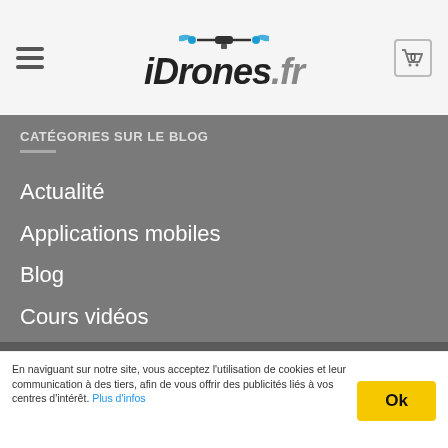[Figure (logo): iDrones.fr website header with drone icon logo, hamburger menu on left, cart icon with 0 on right]
CATÉGORIES SUR LE BLOG
Actualité
Applications mobiles
Blog
Cours vidéos
Formation pilotage 3D Robotics
Formation pilotage DJI
Formation pilotage Parrot
Formation technique
Vidéo
En naviguant sur notre site, vous acceptez l'utilisation de cookies et leur communication à des tiers, afin de vous offrir des publicités liés à vos centres d'intérêt. Plus d'infos